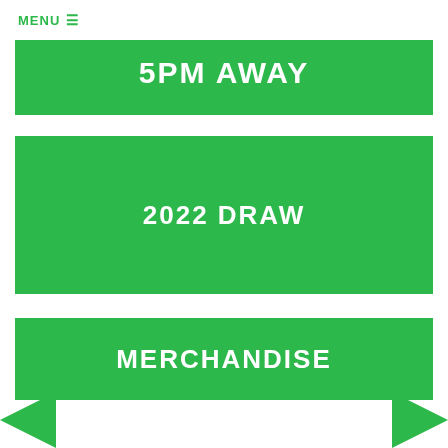MENU ≡
5PM AWAY
2022 DRAW
MERCHANDISE